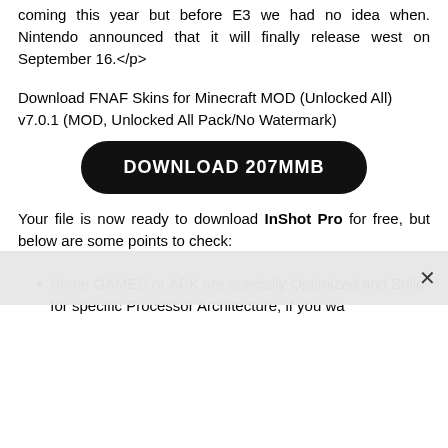coming this year but before E3 we had no idea when. Nintendo announced that it will finally release west on September 16.</p>
Download FNAF Skins for Minecraft MOD (Unlocked All) v7.0.1 (MOD, Unlocked All Pack/No Watermark)
[Figure (other): Black rounded rectangle download button with white text reading DOWNLOAD 207MMB]
Your file is now ready to download InShot Pro for free, but below are some points to check:
Some GAMES or APK are specially Optimized and Build for specific Processor Architecture, if you wa